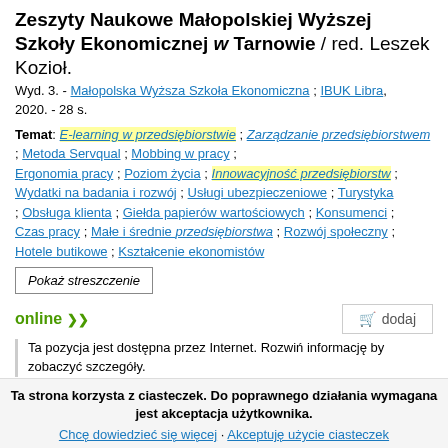Zeszyty Naukowe Małopolskiej Wyższej Szkoły Ekonomicznej w Tarnowie / red. Leszek Kozioł.
Wyd. 3. - Małopolska Wyższa Szkoła Ekonomiczna ; IBUK Libra, 2020. - 28 s.
Temat: E-learning w przedsiębiorstwie ; Zarządzanie przedsiębiorstwem ; Metoda Servqual ; Mobbing w pracy ; Ergonomia pracy ; Poziom życia ; Innowacyjność przedsiębiorstw ; Wydatki na badania i rozwój ; Usługi ubezpieczeniowe ; Turystyka ; Obsługa klienta ; Giełda papierów wartościowych ; Konsumenci ; Czas pracy ; Małe i średnie przedsiębiorstwa ; Rozwój społeczny ; Hotele butikowe ; Kształcenie ekonomistów
Pokaż streszczenie
online
dodaj
Ta pozycja jest dostępna przez Internet. Rozwiń informację by zobaczyć szczegóły.
Ta strona korzysta z ciasteczek. Do poprawnego działania wymagana jest akceptacja użytkownika.
Chcę dowiedzieć się więcej · Akceptuję użycie ciasteczek